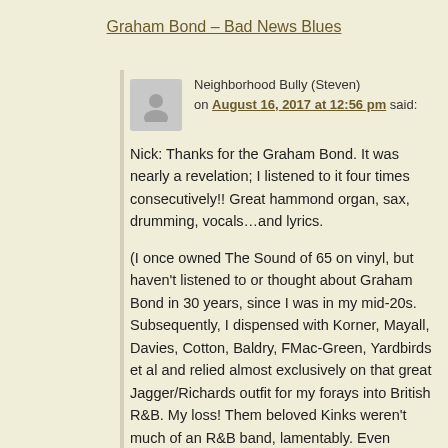Graham Bond – Bad News Blues
Neighborhood Bully (Steven) on August 16, 2017 at 12:56 pm said:
Nick: Thanks for the Graham Bond. It was nearly a revelation; I listened to it four times consecutively!! Great hammond organ, sax, drumming, vocals…and lyrics.
(I once owned The Sound of 65 on vinyl, but haven't listened to or thought about Graham Bond in 30 years, since I was in my mid-20s. Subsequently, I dispensed with Korner, Mayall, Davies, Cotton, Baldry, FMac-Green, Yardbirds et al and relied almost exclusively on that great Jagger/Richards outfit for my forays into British R&B. My loss! Them beloved Kinks weren't much of an R&B band, lamentably. Even